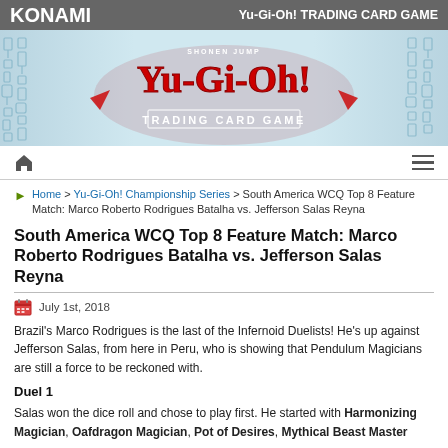KONAMI | Yu-Gi-Oh! TRADING CARD GAME
[Figure (logo): Yu-Gi-Oh! Trading Card Game logo banner with Egyptian hieroglyphic background]
Home > Yu-Gi-Oh! Championship Series > South America WCQ Top 8 Feature Match: Marco Roberto Rodrigues Batalha vs. Jefferson Salas Reyna
South America WCQ Top 8 Feature Match: Marco Roberto Rodrigues Batalha vs. Jefferson Salas Reyna
July 1st, 2018
Brazil's Marco Rodrigues is the last of the Infernoid Duelists! He's up against Jefferson Salas, from here in Peru, who is showing that Pendulum Magicians are still a force to be reckoned with.
Duel 1
Salas won the dice roll and chose to play first. He started with Harmonizing Magician, Oafdragon Magician, Pot of Desires, Mythical Beast Master